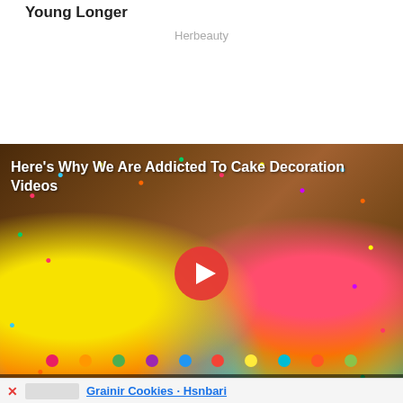Young Longer
Herbeauty
[Figure (screenshot): Video thumbnail and player showing colorful rainbow sprinkle cakes with a red play button overlay. Title text reads 'Here's Why We Are Addicted To Cake Decoration Videos'. Video controls visible at bottom with timestamp 00:00 / 0.]
Grainir Cookies - Hsnbari